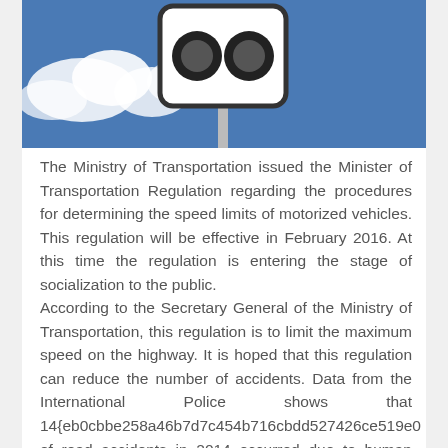[Figure (photo): Photo of a speed limit road sign against a blue sky with clouds. The sign shows two circular symbols on a white rectangular sign with rounded corners, mounted on a metal pole.]
The Ministry of Transportation issued the Minister of Transportation Regulation regarding the procedures for determining the speed limits of motorized vehicles. This regulation will be effective in February 2016. At this time the regulation is entering the stage of socialization to the public. According to the Secretary General of the Ministry of Transportation, this regulation is to limit the maximum speed on the highway. It is hoped that this regulation can reduce the number of accidents. Data from the International Police shows that 14{eb0cbbe258a46b7d7c454b716cbdd527426ce519e0 of road accidents in 2014 occurred due to human factors (human error), one of which was exceeding the speed limit. Vehicle speed limits are enforced according to road conditions and class. The following is an overview of Permenhub 111/2015: